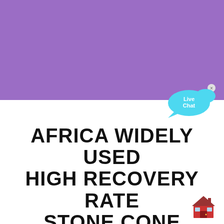[Figure (illustration): Solid purple/violet rectangular banner filling the top half of the image]
[Figure (illustration): Live Chat widget button with cyan speech bubble and white 'Live Chat' text, with a small 'x' close button]
AFRICA WIDELY USED HIGH RECOVERY RATE STONE CONE CRUSHER MACHINE
[Figure (illustration): Red house/home emoji icon in bottom right corner]